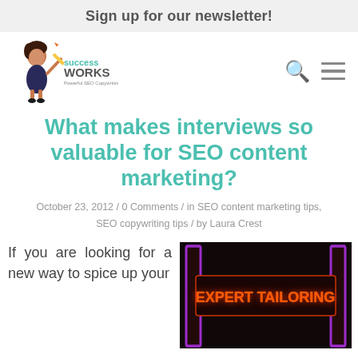Sign up for our newsletter!
[Figure (logo): SuccessWorks Powerful SEO Copywriting logo with illustrated character]
What makes interviews so valuable for SEO content marketing?
October 23, 2012 / 0 Comments / in SEO content marketing tips, SEO copywriting tips / by Laura Crest
If you are looking for a new way to spice up your
[Figure (photo): Neon sign reading EXPERT TAILORING in orange/red letters on dark background]